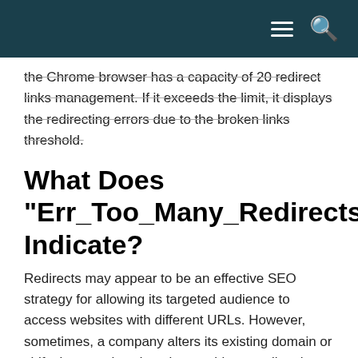[navigation bar with menu and search icons]
the Chrome browser has a capacity of 20 redirect links management. If it exceeds the limit, it displays the redirecting errors due to the broken links threshold.
What Does “Err_Too_Many_Redirects” Indicate?
Redirects may appear to be an effective SEO strategy for allowing its targeted audience to access websites with different URLs. However, sometimes, a company alters its existing domain or shifts it to another domain, requiring a redirecting